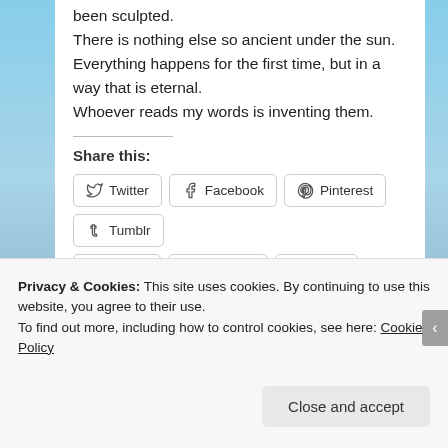been sculpted.
There is nothing else so ancient under the sun.
Everything happens for the first time, but in a way that is eternal.
Whoever reads my words is inventing them.
Share this:
Twitter
Facebook
Pinterest
Tumblr
Reddit
LinkedIn
Email
Like
Privacy & Cookies: This site uses cookies. By continuing to use this website, you agree to their use.
To find out more, including how to control cookies, see here: Cookie Policy
Close and accept